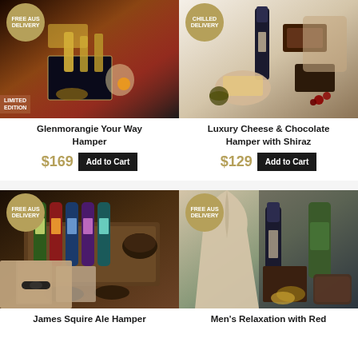[Figure (photo): Glenmorangie Your Way Hamper product photo with whiskey bottles and accessories, FREE AUS DELIVERY badge, LIMITED EDITION label]
Glenmorangie Your Way Hamper
$169
[Figure (photo): Luxury Cheese & Chocolate Hamper with Shiraz product photo with wine, chocolates and cheese, CHILLED DELIVERY badge]
Luxury Cheese & Chocolate Hamper with Shiraz
$129
[Figure (photo): James Squire Ale Hamper product photo with beer bottles and snacks, FREE AUS DELIVERY badge]
James Squire Ale Hamper
[Figure (photo): Men's Relaxation with Red wine hamper product photo with robe, wine bottle and grooming items, FREE AUS DELIVERY badge]
Men's Relaxation with Red